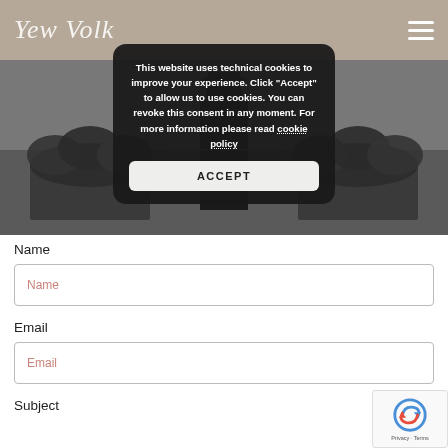Yen Volkl [logo/name]
[Figure (photo): Black and white photo showing a person standing near stone walls with flower boxes/planters]
This website uses technical cookies to improve your experience. Click "Accept" to allow us to use cookies. You can revoke this consent in any moment. For more information please read cookie policy
ACCEPT
Name
Name
Email
Email
Subject